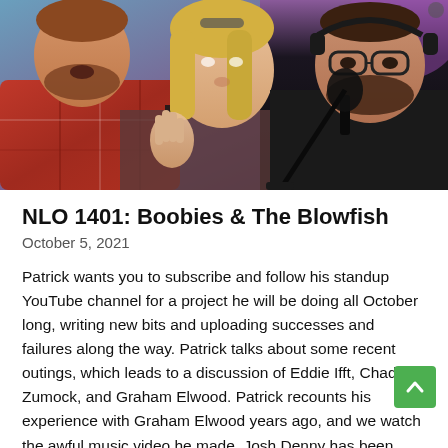[Figure (photo): Three people: a man in a red plaid shirt on the left, a blonde woman in the center gesturing with her hand, and a man wearing glasses and a headset on the right, against a colorful studio background.]
NLO 1401: Boobies & The Blowfish
October 5, 2021
Patrick wants you to subscribe and follow his standup YouTube channel for a project he will be doing all October long, writing new bits and uploading successes and failures along the way. Patrick talks about some recent outings, which leads to a discussion of Eddie Ifft, Chad Zumock, and Graham Elwood. Patrick recounts his experience with Graham Elwood years ago, and we watch the awful music video he made. Josh Denny has been making the rounds as a new right-wing nut, and he's against abortions and. We find an old show where Josh talks about convincing a maid he has had to bill that he deserved a bonus this many to do. Not